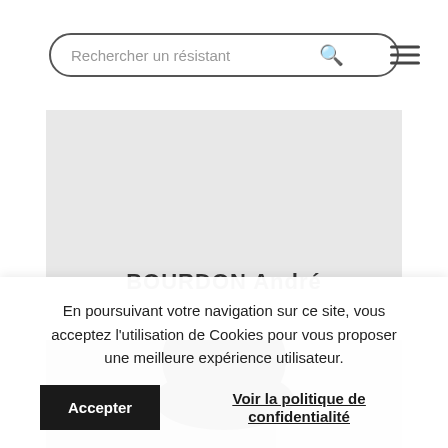Rechercher un résistant [search box] [menu icon]
BOURDON André
[Figure (photo): Black and white photograph showing the top of a person's head/dark hair against a grey background]
En poursuivant votre navigation sur ce site, vous acceptez l'utilisation de Cookies pour vous proposer une meilleure expérience utilisateur.
Accepter
Voir la politique de confidentialité